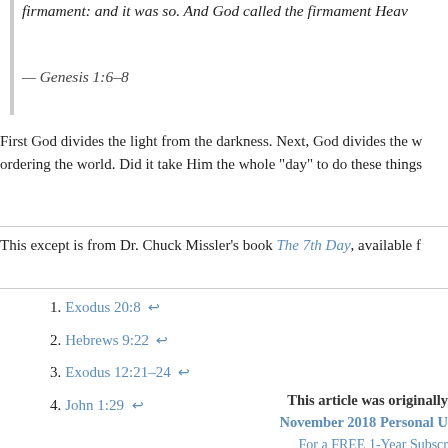firmament: and it was so. And God called the firmament Heav…
— Genesis 1:6–8
First God divides the light from the darkness. Next, God divides the w… ordering the world. Did it take Him the whole “day” to do these things…
This except is from Dr. Chuck Missler’s book The 7th Day, available f…
1. Exodus 20:8 ↩
2. Hebrews 9:22 ↩
3. Exodus 12:21–24 ↩
4. John 1:29 ↩
This article was originally… November 2018 Personal U… For a FREE 1-Year Subscr…